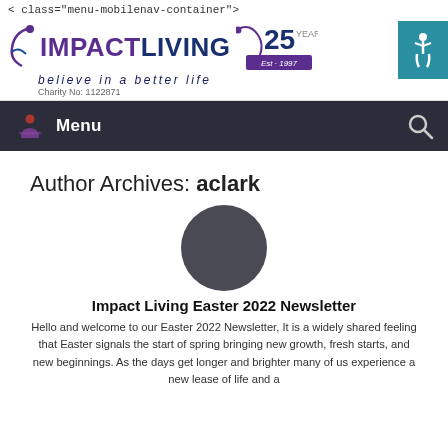< class="menu-mobilenav-container">
[Figure (logo): Impact Living logo with swoosh graphic, '25 Years Est. 1997' badge, tagline 'believe in a better life', Charity No: 1122871, and accessibility icon in teal box]
Menu
Author Archives: aclark
[Figure (photo): Dark gray circular avatar/profile image placeholder]
Impact Living Easter 2022 Newsletter
Hello and welcome to our Easter 2022 Newsletter, It is a widely shared feeling that Easter signals the start of spring bringing new growth, fresh starts, and new beginnings. As the days get longer and brighter many of us experience a new lease of life and a